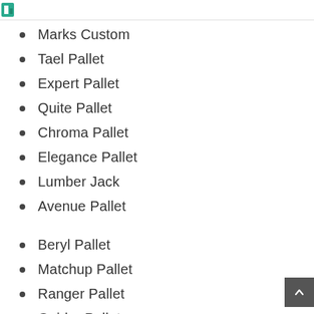[Figure (logo): Partial logo image visible at top left]
Marks Custom
Tael Pallet
Expert Pallet
Quite Pallet
Chroma Pallet
Elegance Pallet
Lumber Jack
Avenue Pallet
Beryl Pallet
Matchup Pallet
Ranger Pallet
Guider Pallet